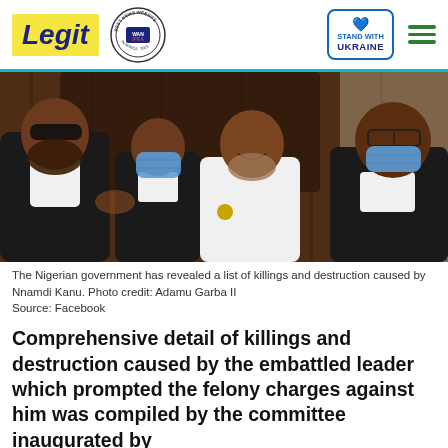Legit | WAN IFRA Best News Website in Africa 2021 | Stand With Ukraine
[Figure (photo): Four people in a courtroom setting; two men wearing black legal robes with white collars and blue face masks, a man in white outfit smiling, and a woman in black with glasses and blue mask. Wooden paneled background.]
The Nigerian government has revealed a list of killings and destruction caused by Nnamdi Kanu. Photo credit: Adamu Garba II
Source: Facebook
Comprehensive detail of killings and destruction caused by the embattled leader which prompted the felony charges against him was compiled by the committee inaugurated by